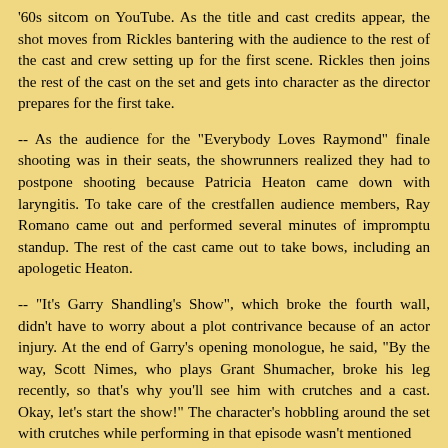'60s sitcom on YouTube. As the title and cast credits appear, the shot moves from Rickles bantering with the audience to the rest of the cast and crew setting up for the first scene. Rickles then joins the rest of the cast on the set and gets into character as the director prepares for the first take.
-- As the audience for the "Everybody Loves Raymond" finale shooting was in their seats, the showrunners realized they had to postpone shooting because Patricia Heaton came down with laryngitis. To take care of the crestfallen audience members, Ray Romano came out and performed several minutes of impromptu standup. The rest of the cast came out to take bows, including an apologetic Heaton.
-- "It's Garry Shandling's Show", which broke the fourth wall, didn't have to worry about a plot contrivance because of an actor injury. At the end of Garry's opening monologue, he said, "By the way, Scott Nimes, who plays Grant Shumacher, broke his leg recently, so that's why you'll see him with crutches and a cast. Okay, let's start the show!" The character's hobbling around the set with crutches while performing in that episode wasn't mentioned